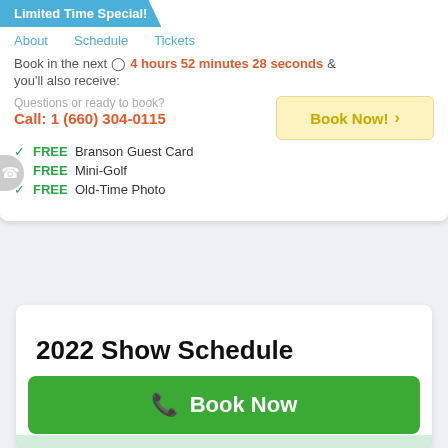Limited Time Special!
About
Schedule
Tickets
Book in the next  4 hours 52 minutes 28 seconds  &
you'll also receive:
Questions or ready to book?
Call: 1 (660) 304-0115
Book Now!
FREE  Branson Guest Card
FREE  Mini-Golf
FREE  Old-Time Photo
2022 Show Schedule
Book Now